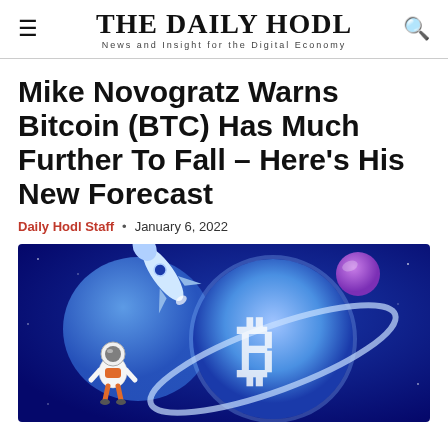THE DAILY HODL — News and Insight for the Digital Economy
Mike Novogratz Warns Bitcoin (BTC) Has Much Further To Fall – Here's His New Forecast
Daily Hodl Staff · January 6, 2022
[Figure (illustration): 3D illustration of a Bitcoin logo as a planet with a rocket orbiting it, a small blue sphere, a purple sphere, and an astronaut in orange suit floating in a deep blue space background]